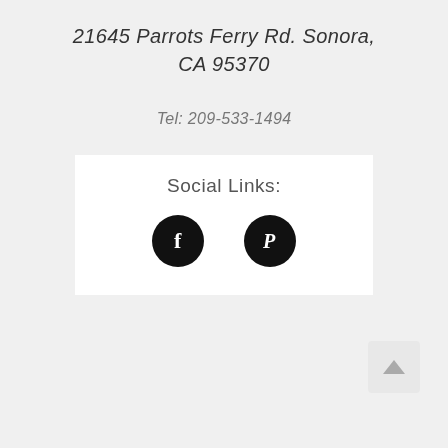21645 Parrots Ferry Rd. Sonora, CA 95370
Tel: 209-533-1494
Social Links:
[Figure (other): Two social media icon buttons: Facebook (f) and Pinterest (P) as black circles on white background]
[Figure (other): Back to top button arrow in light gray box at bottom right]